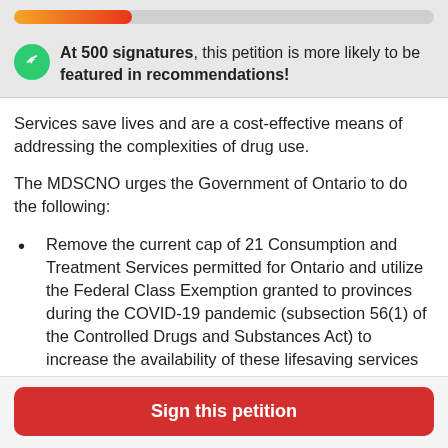[Figure (infographic): Progress bar showing partial fill with orange-to-red gradient, approximately 28% filled, on a light grey background]
At 500 signatures, this petition is more likely to be featured in recommendations!
Services save lives and are a cost-effective means of addressing the complexities of drug use.
The MDSCNO urges the Government of Ontario to do the following:
Remove the current cap of 21 Consumption and Treatment Services permitted for Ontario and utilize the Federal Class Exemption granted to provinces during the COVID-19 pandemic (subsection 56(1) of the Controlled Drugs and Substances Act) to increase the availability of these lifesaving services throughout
Sign this petition